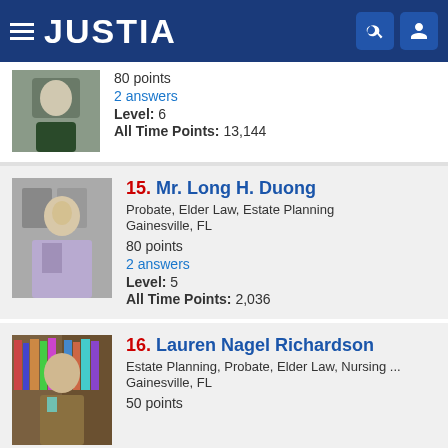JUSTIA
80 points
2 answers
Level: 6
All Time Points: 13,144
15. Mr. Long H. Duong
Probate, Elder Law, Estate Planning
Gainesville, FL
80 points
2 answers
Level: 5
All Time Points: 2,036
16. Lauren Nagel Richardson
Estate Planning, Probate, Elder Law, Nursing ...
Gainesville, FL
50 points